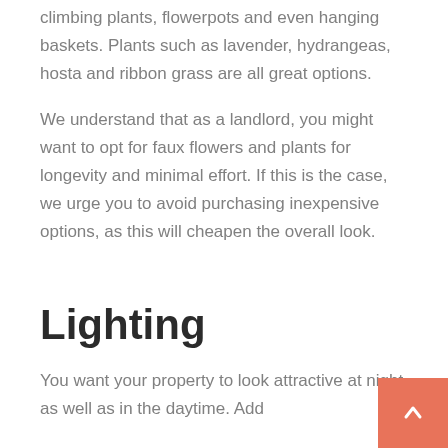climbing plants, flowerpots and even hanging baskets. Plants such as lavender, hydrangeas, hosta and ribbon grass are all great options.
We understand that as a landlord, you might want to opt for faux flowers and plants for longevity and minimal effort. If this is the case, we urge you to avoid purchasing inexpensive options, as this will cheapen the overall look.
Lighting
You want your property to look attractive at night, as well as in the daytime. Add